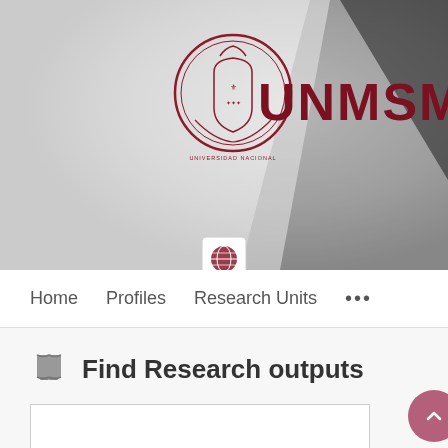[Figure (screenshot): UNMSM university website header with logo and crest on grey/white blurred background. Globe icon button at bottom center.]
Home   Profiles   Research Units   ...
Find Research outputs
Search input field